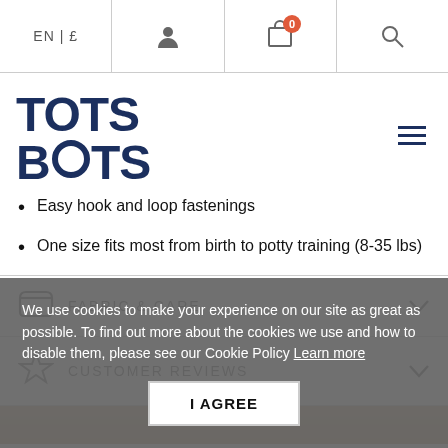EN | £ [user icon] [cart icon, 0 items] [search icon]
[Figure (logo): Tots Bots logo in dark navy blue bold blocky font]
Easy hook and loop fastenings
One size fits most from birth to potty training (8-35 lbs)
FABRIC & CARE
CUSTOMER REVIEWS
[Figure (photo): Partial photo strip showing warm brown/tan tones]
We use cookies to make your experience on our site as great as possible. To find out more about the cookies we use and how to disable them, please see our Cookie Policy Learn more
I AGREE